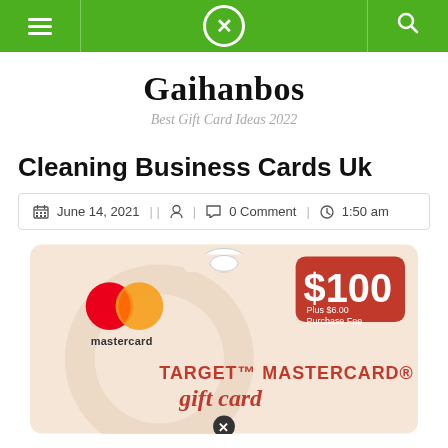Gaihanbos - navigation bar with menu, close, and search icons
Gaihanbos
Best Gift Card Ideas 2022
Cleaning Business Cards Uk
June 14, 2021 || | 0 Comment | 1:50 am
[Figure (photo): Target Mastercard gift card showing $100 value plus $6.00 purchase fee, with Mastercard logo and red/orange circles design]